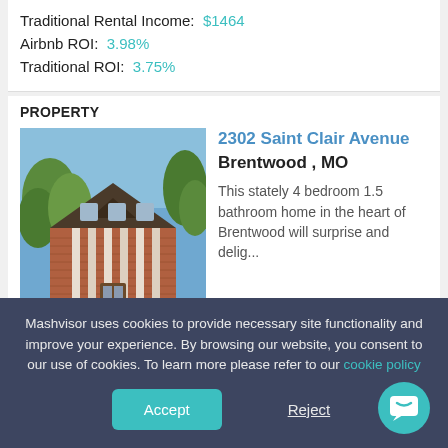Traditional Rental Income: $1464
Airbnb ROI: 3.98%
Traditional ROI: 3.75%
PROPERTY
[Figure (photo): Exterior photo of a brick colonial-style house with columns, surrounded by trees and landscaping]
2302 Saint Clair Avenue Brentwood , MO
This stately 4 bedroom 1.5 bathroom home in the heart of Brentwood will surprise and delig...
Mashvisor uses cookies to provide necessary site functionality and improve your experience. By browsing our website, you consent to our use of cookies. To learn more please refer to our cookie policy